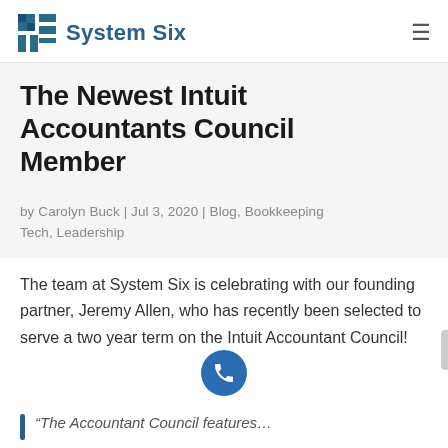System Six
The Newest Intuit Accountants Council Member
by Carolyn Buck | Jul 3, 2020 | Blog, Bookkeeping Tech, Leadership
The team at System Six is celebrating with our founding partner, Jeremy Allen, who has recently been selected to serve a two year term on the Intuit Accountant Council!
“The Accountant Council features…